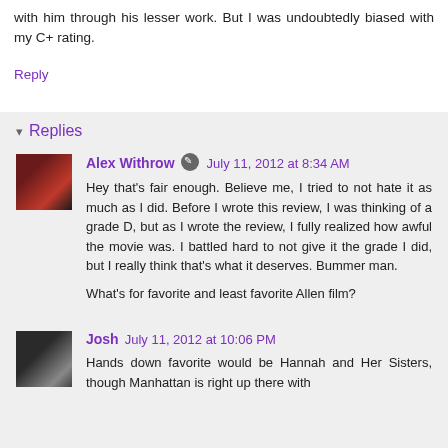with him through his lesser work. But I was undoubtedly biased with my C+ rating.
Reply
Replies
Alex Withrow  July 11, 2012 at 8:34 AM
Hey that's fair enough. Believe me, I tried to not hate it as much as I did. Before I wrote this review, I was thinking of a grade D, but as I wrote the review, I fully realized how awful the movie was. I battled hard to not give it the grade I did, but I really think that's what it deserves. Bummer man.

What's for favorite and least favorite Allen film?
Josh  July 11, 2012 at 10:06 PM
Hands down favorite would be Hannah and Her Sisters, though Manhattan is right up there with